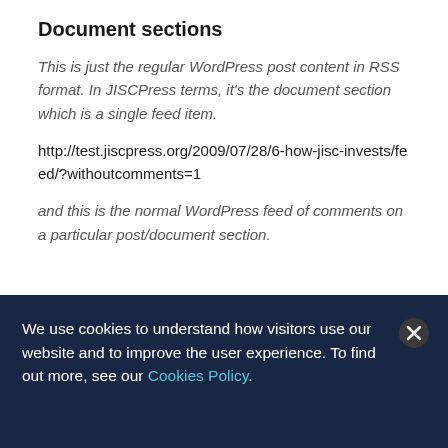Document sections
This is just the regular WordPress post content in RSS format. In JISCPress terms, it's the document section which is a single feed item.
http://test.jiscpress.org/2009/07/28/6-how-jisc-invests/feed/?withoutcomments=1
and this is the normal WordPress feed of comments on a particular post/document section.
We use cookies to understand how visitors use our website and to improve the user experience. To find out more, see our Cookies Policy.